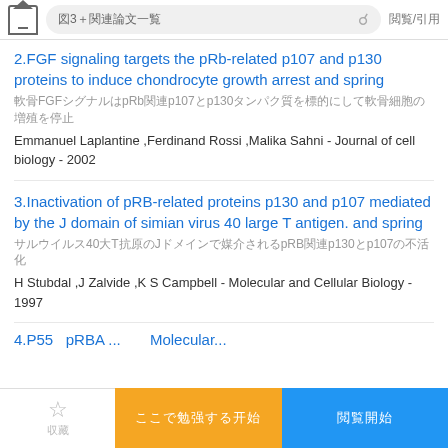図3＋関連論文一覧　🔍　閲覧/引用
2.FGF signaling targets the pRb-related p107 and p130 proteins to induce chondrocyte growth arrest and spring
軟骨FGFシグナルはpRb関連p107とp130タンパク質を標的にして軟骨細胞の増殖を停止
Emmanuel Laplantine ,Ferdinand Rossi ,Malika Sahni - Journal of cell biology - 2002
3.Inactivation of pRB-related proteins p130 and p107 mediated by the J domain of simian virus 40 large T antigen. and spring
サルウイルス40大T抗原のJドメインで媒介されるpRB関連p130とp107の不活化
H Stubdal ,J Zalvide ,K S Campbell - Molecular and Cellular Biology - 1997
4.P55... pRBA...　Molecular...
収藏　ここで勉强する开始　閲覧開始